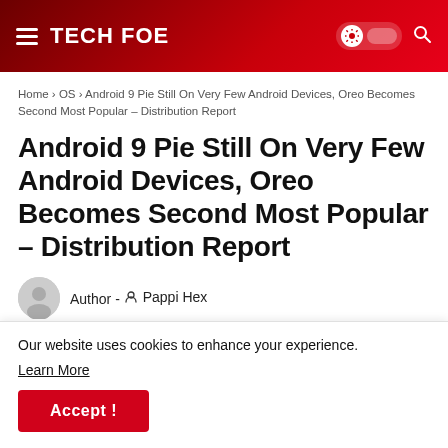TECH FOE
Home › OS › Android 9 Pie Still On Very Few Android Devices, Oreo Becomes Second Most Popular – Distribution Report
Android 9 Pie Still On Very Few Android Devices, Oreo Becomes Second Most Popular – Distribution Report
Author - Pappi Hex
Our website uses cookies to enhance your experience. Learn More
Accept !